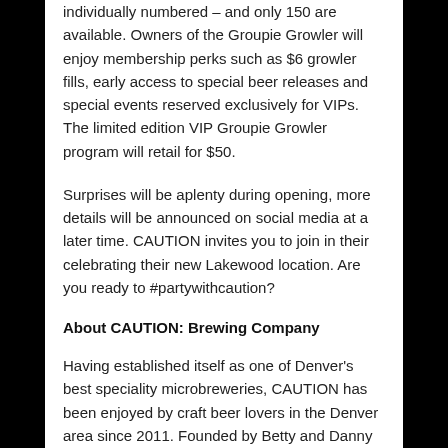individually numbered – and only 150 are available. Owners of the Groupie Growler will enjoy membership perks such as $6 growler fills, early access to special beer releases and special events reserved exclusively for VIPs. The limited edition VIP Groupie Growler program will retail for $50.
Surprises will be aplenty during opening, more details will be announced on social media at a later time. CAUTION invites you to join in their celebrating their new Lakewood location. Are you ready to #partywithcaution?
About CAUTION: Brewing Company
Having established itself as one of Denver's best speciality microbreweries, CAUTION has been enjoyed by craft beer lovers in the Denver area since 2011. Founded by Betty and Danny Wang, CAUTION strives to produce well balanced beers made with a unique twist. By using as much Colorado raw ingredients as possible, CAUTION is proud to be a part of the